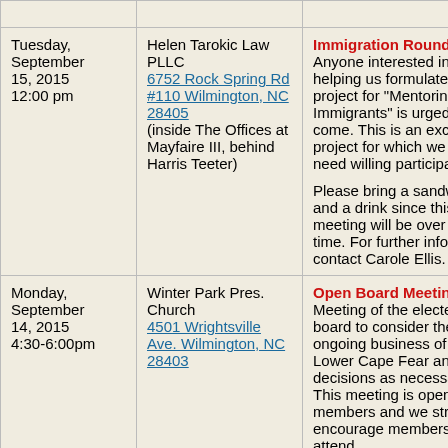| Date/Time | Location | Event |
| --- | --- | --- |
| Tuesday, September 15, 2015 12:00 pm | Helen Tarokic Law PLLC 6752 Rock Spring Rd #110 Wilmington, NC 28405 (inside The Offices at Mayfaire III, behind Harris Teeter) | Immigration Roundtable. Anyone interested in helping us formulate our project for "Mentoring Immigrants" is urged to come. This is an exciting project for which we will need willing participants.

Please bring a sandwich and a drink since this meeting will be over lunch time. For further information contact Carole Ellis. |
| Monday, September 14, 2015 4:30-6:00pm | Winter Park Pres. Church 4501 Wrightsville Ave. Wilmington, NC 28403 | Open Board Meeting. Meeting of the elected board to consider the ongoing business of LWV Lower Cape Fear and make decisions as necessary. This meeting is open to all members and we strongly encourage members to attend. |